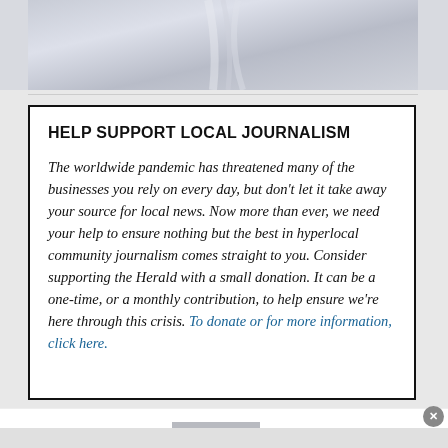[Figure (photo): Top portion of a webpage showing a partial photo of light gray/white fabric or silky material]
HELP SUPPORT LOCAL JOURNALISM
The worldwide pandemic has threatened many of the businesses you rely on every day, but don't let it take away your source for local news. Now more than ever, we need your help to ensure nothing but the best in hyperlocal community journalism comes straight to you. Consider supporting the Herald with a small donation. It can be a one-time, or a monthly contribution, to help ensure we're here through this crisis. To donate or for more information, click here.
[Figure (infographic): Wayfair advertisement banner: Top Appliances Low Prices, Save on best selling brands that live up to the hype, Shop now button, stove/range appliance image]